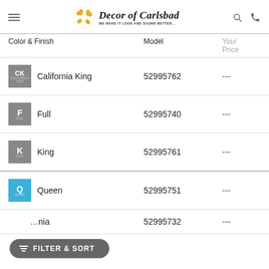[Figure (logo): Decor of Carlsbad logo with crossed wrenches icon and tagline WE MAKE IT LOOK AND SOUND BETTER...]
| Color & Finish | Model | Your Price |
| --- | --- | --- |
| California King | 52995762 | --- |
| Full | 52995740 | --- |
| King | 52995761 | --- |
| Queen | 52995751 | --- |
| [Twin/Twin Long/California...] | 52995732 | --- |